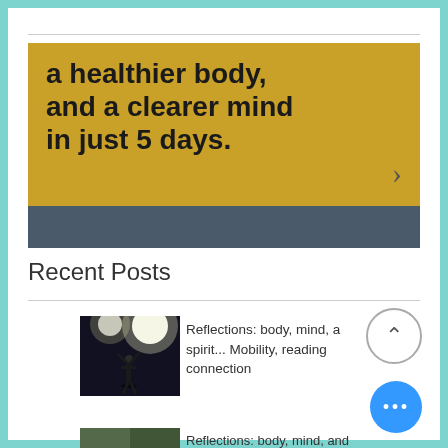[Figure (infographic): Gold/yellow banner with bold text reading 'a healthier body, and a clearer mind in just 5 days.' with a right-arrow chevron, and a dark slate-gray strip below it.]
Recent Posts
[Figure (photo): Night-time photo of a person doing a street workout under bright lights.]
Reflections: body, mind, and spirit... Mobility, reading connection
[Figure (photo): Outdoor daytime photo, partially visible at bottom of page.]
Reflections: body, mind, and